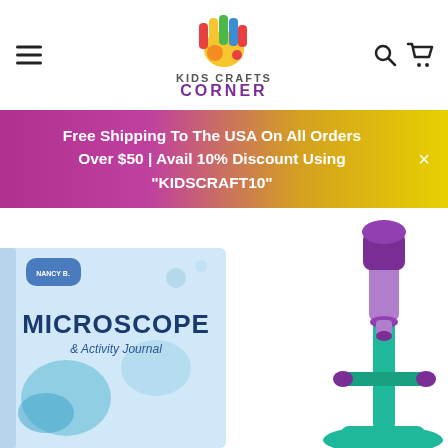[Figure (logo): Kids Crafts Corner logo with colorful hand and paint]
Free Shipping To The USA On All Orders Over $50 | Avail 10% Discount Using "KIDSCRAFT10"
[Figure (photo): Product photo showing a Nancy B's Science Club Microscope & Activity Journal book and a purple/teal microscope]